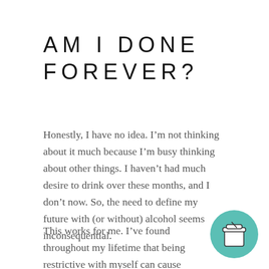AM I DONE FOREVER?
Honestly, I have no idea. I’m not thinking about it much because I’m busy thinking about other things. I haven’t had much desire to drink over these months, and I don’t now. So, the need to define my future with (or without) alcohol seems inconsequential.
This works for me. I’ve found throughout my lifetime that being restrictive with myself can cause
[Figure (illustration): Teal/mint colored circular badge with a coffee cup icon in the bottom-right corner of the page]